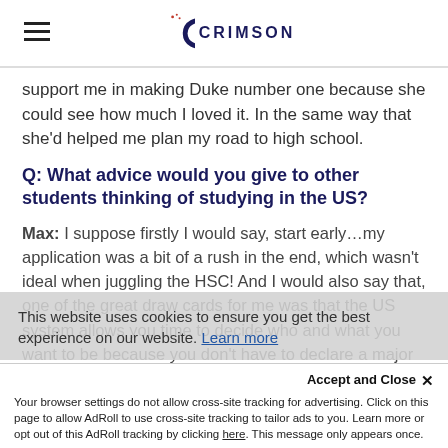CRIMSON
support me in making Duke number one because she could see how much I loved it. In the same way that she'd helped me plan my road to high school.
Q: What advice would you give to other students thinking of studying in the US?
Max: I suppose firstly I would say, start early…my application was a bit of a rush in the end, which wasn't ideal when juggling the HSC! And I would also say that, one of the great draw cards for me was that the US system allows you time to decide who and what you want to be because you don't have to declare a major straight away. For example, I loved English at school, but I also loved physics and
This website uses cookies to ensure you get the best experience on our website. Learn more
Accept and Close ✕
Your browser settings do not allow cross-site tracking for advertising. Click on this page to allow AdRoll to use cross-site tracking to tailor ads to you. Learn more or opt out of this AdRoll tracking by clicking here. This message only appears once.